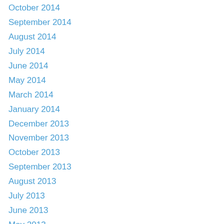October 2014
September 2014
August 2014
July 2014
June 2014
May 2014
March 2014
January 2014
December 2013
November 2013
October 2013
September 2013
August 2013
July 2013
June 2013
May 2013
April 2013
March 2013
January 2013
December 2012